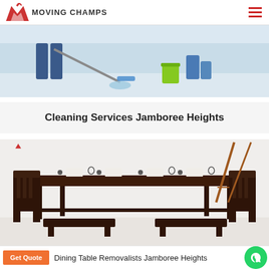Moving Champs
[Figure (photo): Cleaning service photo showing two people mopping a floor, one in jeans and the other in casual clothes with a green bucket and blue mop]
Cleaning Services Jamboree Heights
[Figure (photo): Dining table with chairs, dark wood table set with place settings, glasses, and two benches, white background]
Dining Table Removalists Jamboree Heights